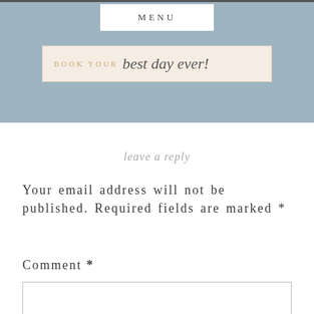MENU
[Figure (other): Book your best day ever! banner button with cursive script on light peach background]
leave a reply
Your email address will not be published. Required fields are marked *
Comment *